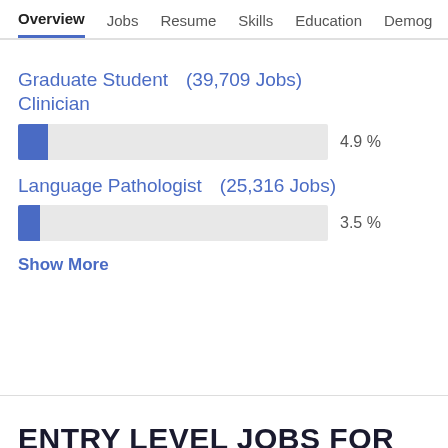Overview  Jobs  Resume  Skills  Education  Demog >
Graduate Student Clinician   (39,709 Jobs)
[Figure (bar-chart): ]
Language Pathologist   (25,316 Jobs)
[Figure (bar-chart): ]
Show More
ENTRY LEVEL JOBS FOR BECOMING A SPEECH